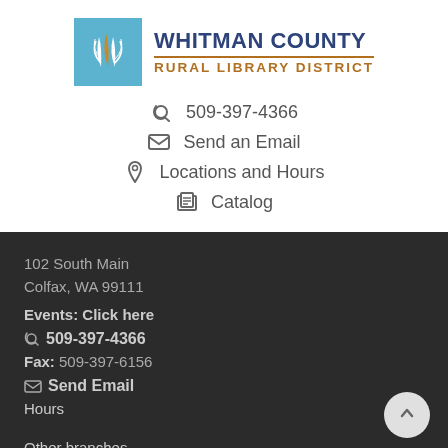[Figure (logo): Whitman County Rural Library District logo with blue wheat icon and text]
509-397-4366
Send an Email
Locations and Hours
Catalog
102 South Main
Colfax, WA 99111
Events: Click here
509-397-4366
Fax: 509-397-6156
Send Email
Hours
Other branches